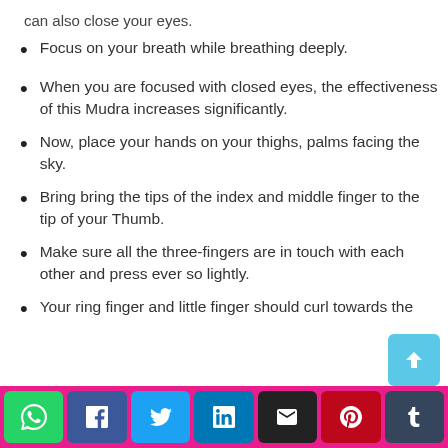can also close your eyes.
Focus on your breath while breathing deeply.
When you are focused with closed eyes, the effectiveness of this Mudra increases significantly.
Now, place your hands on your thighs, palms facing the sky.
Bring bring the tips of the index and middle finger to the tip of your Thumb.
Make sure all the three-fingers are in touch with each other and press ever so lightly.
Your ring finger and little finger should curl towards the